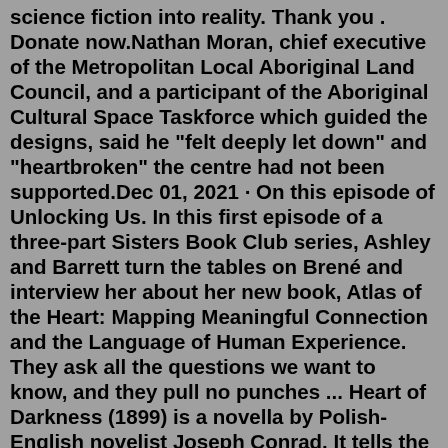science fiction into reality. Thank you . Donate now.Nathan Moran, chief executive of the Metropolitan Local Aboriginal Land Council, and a participant of the Aboriginal Cultural Space Taskforce which guided the designs, said he "felt deeply let down" and "heartbroken" the centre had not been supported.Dec 01, 2021 · On this episode of Unlocking Us. In this first episode of a three-part Sisters Book Club series, Ashley and Barrett turn the tables on Brené and interview her about her new book, Atlas of the Heart: Mapping Meaningful Connection and the Language of Human Experience. They ask all the questions we want to know, and they pull no punches ... Heart of Darkness (1899) is a novella by Polish-English novelist Joseph Conrad. It tells the story of Charles Marlow, a sailor who takes on an assignment from a Belgian trading company as a ferry-boat captain in the African interior. The novel is widely regarded as a critique of European colonial rule in Africa, whilst also examining the themes ... The third edition of the book is 100 pages with 47